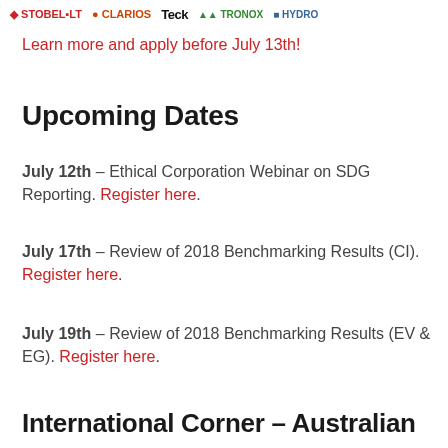[Figure (logo): Row of company logos at top of page]
Learn more and apply before July 13th!
Upcoming Dates
July 12th – Ethical Corporation Webinar on SDG Reporting. Register here.
July 17th – Review of 2018 Benchmarking Results (CI). Register here.
July 19th – Review of 2018 Benchmarking Results (EV & EG). Register here.
International Corner – Australian